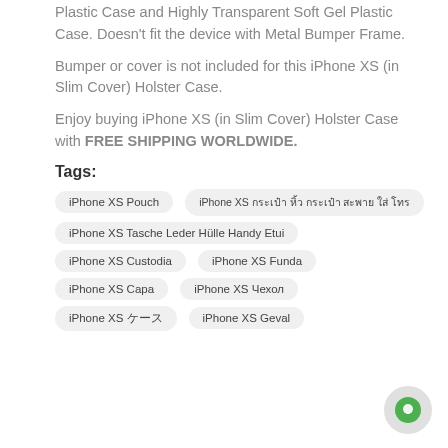Plastic Case and Highly Transparent Soft Gel Plastic Case. Doesn't fit the device with Metal Bumper Frame.
Bumper or cover is not included for this iPhone XS (in Slim Cover) Holster Case.
Enjoy buying iPhone XS (in Slim Cover) Holster Case with FREE SHIPPING WORLDWIDE.
Tags:
iPhone XS Pouch
iPhone XS กระเป๋า หิ้ว กระเป๋า สะพาย ใส่ โทร
iPhone XS Tasche Leder Hülle Handy Etui
iPhone XS Custodia
iPhone XS Funda
iPhone XS Сара
iPhone XS Чехол
iPhone XS ケース
iPhone XS Geval